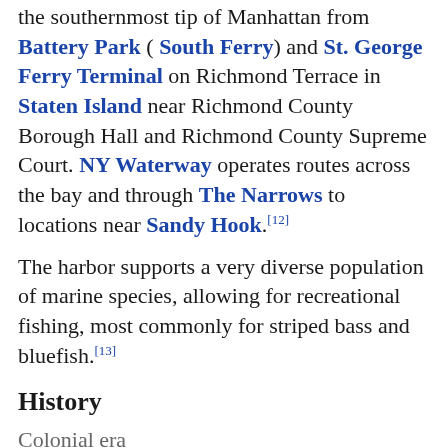the southernmost tip of Manhattan from Battery Park ( South Ferry) and St. George Ferry Terminal on Richmond Terrace in Staten Island near Richmond County Borough Hall and Richmond County Supreme Court. NY Waterway operates routes across the bay and through The Narrows to locations near Sandy Hook. [12]
The harbor supports a very diverse population of marine species, allowing for recreational fishing, most commonly for striped bass and bluefish. [13]
History
Colonial era
[Figure (map): Historical map showing a colonial-era settlement, featuring a coastal area with fortifications, street grid, and waterways, rendered in muted greens and tans.]